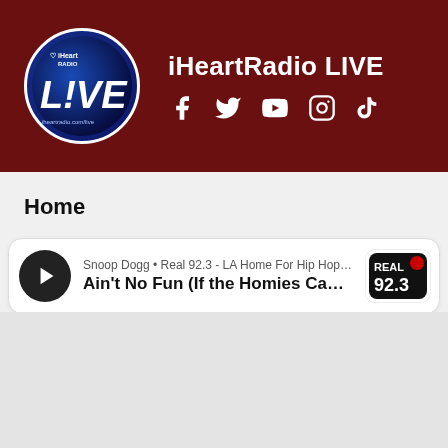[Figure (screenshot): iHeartRadio LIVE header banner with logo circle showing 'iHeart RADIO LIVE' text in blue, on dark red/maroon background]
iHeartRadio LIVE
[Figure (infographic): Social media icons: Facebook, Twitter, YouTube, Instagram, TikTok in white on dark red background]
Home
[Figure (screenshot): Music player card showing Snoop Dogg playing on Real 92.3 - LA Home For Hip Hop, Big B... with song 'Ain't No Fun (If the Homies Cant ...' and Real 92.3 station logo on right]